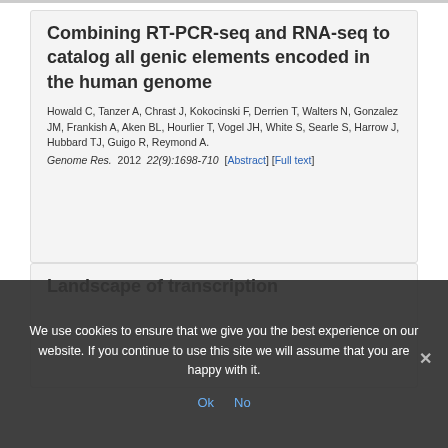Combining RT-PCR-seq and RNA-seq to catalog all genic elements encoded in the human genome
Howald C, Tanzer A, Chrast J, Kokocinski F, Derrien T, Walters N, Gonzalez JM, Frankish A, Aken BL, Hourlier T, Vogel JH, White S, Searle S, Harrow J, Hubbard TJ, Guigo R, Reymond A.
Genome Res. 2012 22(9):1698-710 [Abstract] [Full text]
Landscape of transcription
We use cookies to ensure that we give you the best experience on our website. If you continue to use this site we will assume that you are happy with it.